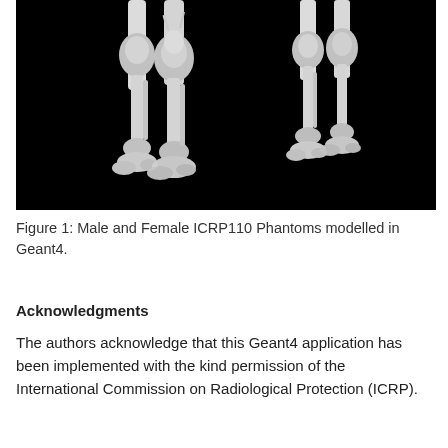[Figure (photo): Black background medical imaging photo showing four lower limb bone structures (legs/feet) rendered in white — two on the left side and two on the right side, representing Male and Female ICRP110 Phantoms modelled in Geant4.]
Figure 1: Male and Female ICRP110 Phantoms modelled in Geant4.
Acknowledgments
The authors acknowledge that this Geant4 application has been implemented with the kind permission of the International Commission on Radiological Protection (ICRP).